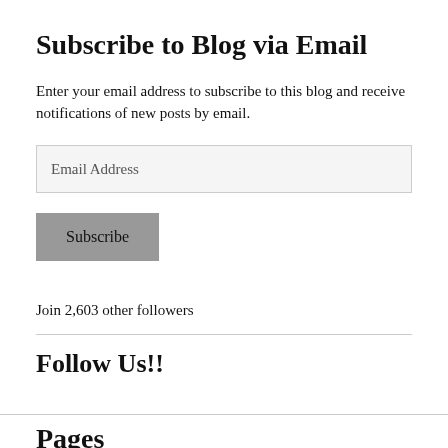Subscribe to Blog via Email
Enter your email address to subscribe to this blog and receive notifications of new posts by email.
Email Address
Subscribe
Join 2,603 other followers
Follow Us!!
Pages